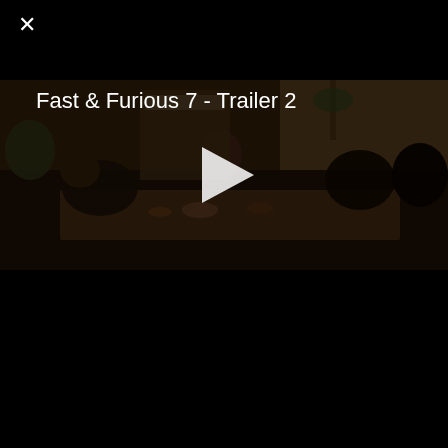×
Fast & Furious 7 - Trailer 2
[Figure (screenshot): Video thumbnail showing a group of people seated at an outdoor dining table, semi-darkened scene. A white triangular play button is overlaid in the center.]
FAST & FURIOUS 7
STREAMING NOW  0 Provider